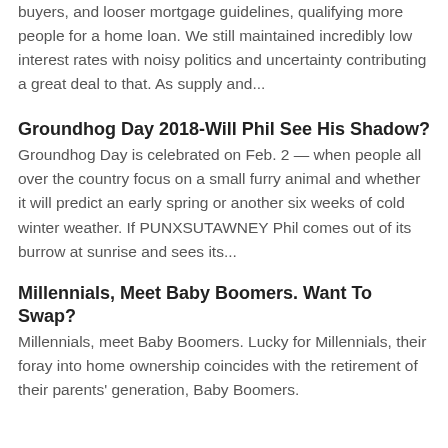buyers, and looser mortgage guidelines, qualifying more people for a home loan. We still maintained incredibly low interest rates with noisy politics and uncertainty contributing a great deal to that. As supply and...
Groundhog Day 2018-Will Phil See His Shadow?
Groundhog Day is celebrated on Feb. 2 — when people all over the country focus on a small furry animal and whether it will predict an early spring or another six weeks of cold winter weather. If PUNXSUTAWNEY Phil comes out of its burrow at sunrise and sees its...
Millennials, Meet Baby Boomers. Want To Swap?
Millennials, meet Baby Boomers. Lucky for Millennials, their foray into home ownership coincides with the retirement of their parents' generation, Baby Boomers.